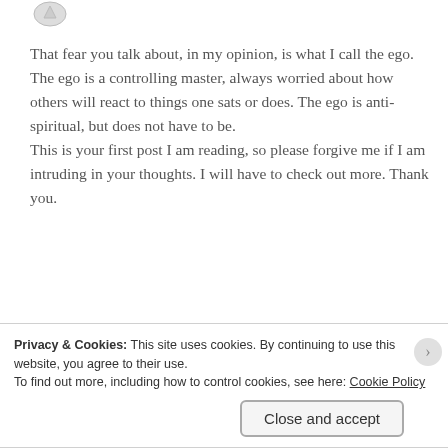[Figure (illustration): Partial avatar/icon image at top left]
That fear you talk about, in my opinion, is what I call the ego. The ego is a controlling master, always worried about how others will react to things one sats or does. The ego is anti-spiritual, but does not have to be.
This is your first post I am reading, so please forgive me if I am intruding in your thoughts. I will have to check out more. Thank you.
★ Liked by 1 person
Reply
Privacy & Cookies: This site uses cookies. By continuing to use this website, you agree to their use.
To find out more, including how to control cookies, see here: Cookie Policy
Close and accept